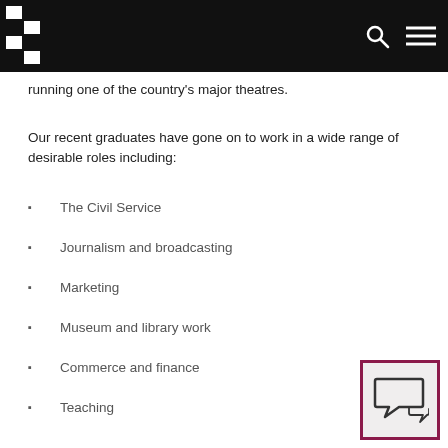running one of the country's major theatres.
Our recent graduates have gone on to work in a wide range of desirable roles including:
The Civil Service
Journalism and broadcasting
Marketing
Museum and library work
Commerce and finance
Teaching
[Figure (illustration): Chat/speech bubble icon in a box with purple-red border]